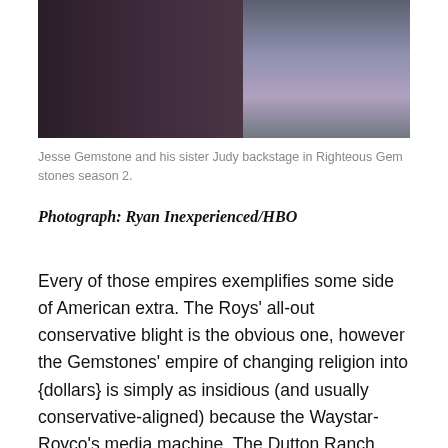[Figure (photo): Jesse Gemstone and his sister Judy backstage in Righteous Gemstones season 2. A man in a dark suit stands in the foreground, a woman in a blue/purple dress is visible in the background near staging equipment.]
Jesse Gemstone and his sister Judy backstage in Righteous Gemstones season 2.
Photograph: Ryan Inexperienced/HBO
Every of those empires exemplifies some side of American extra. The Roys' all-out conservative blight is the obvious one, however the Gemstones' empire of changing religion into {dollars} is simply as insidious (and usually conservative-aligned) because the Waystar-Royco's media machine. The Dutton Ranch stands for America's bloody domination of land occupied by